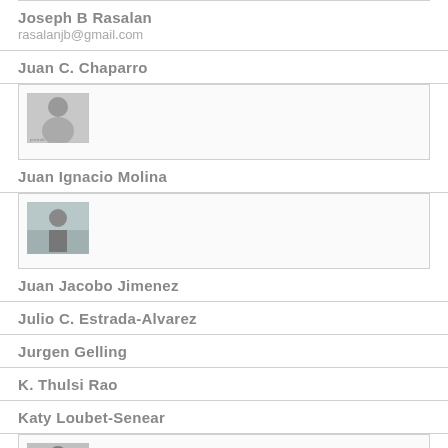Joseph B Rasalan
rasalanjb@gmail.com
Juan C. Chaparro
[Figure (photo): Small grayscale portrait photo of a person]
Juan Ignacio Molina
[Figure (photo): Small grayscale photo of a person standing outdoors]
Juan Jacobo Jimenez
Julio C. Estrada-Alvarez
Jurgen Gelling
K. Thulsi Rao
Katy Loubet-Senear
[Figure (photo): Small grayscale portrait photo of a person in a suit]